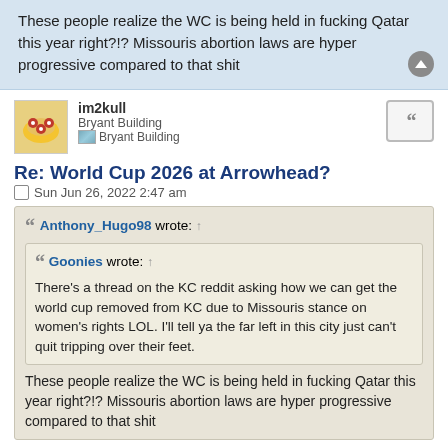These people realize the WC is being held in fucking Qatar this year right?!? Missouris abortion laws are hyper progressive compared to that shit
im2kull
Bryant Building
Bryant Building
Re: World Cup 2026 at Arrowhead?
Sun Jun 26, 2022 2:47 am
Anthony_Hugo98 wrote: ↑
Goonies wrote: ↑
There's a thread on the KC reddit asking how we can get the world cup removed from KC due to Missouris stance on women's rights LOL. I'll tell ya the far left in this city just can't quit tripping over their feet.
These people realize the WC is being held in fucking Qatar this year right?!? Missouris abortion laws are hyper progressive compared to that shit
No, No thread...